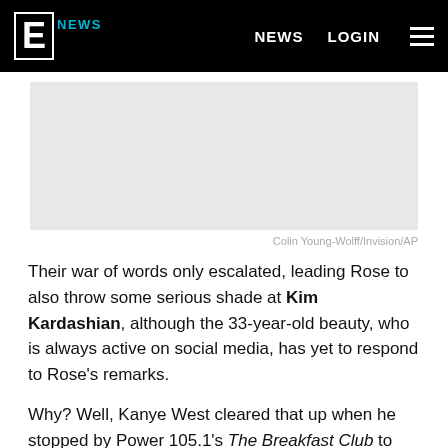E! NEWS  NEWS  LOGIN
[Figure (photo): Light gray image placeholder representing a news article photo]
Colin Young-Wolff/Invision/AP
Their war of words only escalated, leading Rose to also throw some serious shade at Kim Kardashian, although the 33-year-old beauty, who is always active on social media, has yet to respond to Rose's remarks.
Why? Well, Kanye West cleared that up when he stopped by Power 105.1's The Breakfast Club to chat